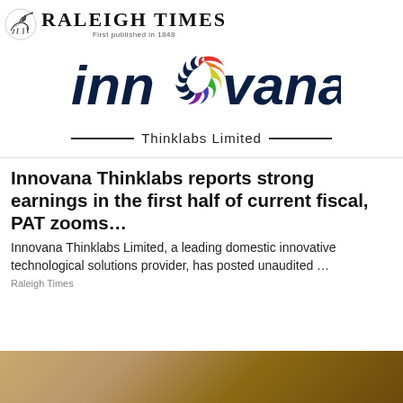[Figure (logo): Raleigh Times masthead logo with knight on horseback emblem and text 'RALEIGH TIMES' with subtitle 'First published in 1848']
[Figure (logo): Innovana Thinklabs Limited company logo with colorful swirl forming 'o' in 'innovana' and text 'Thinklabs Limited' with decorative lines]
Innovana Thinklabs reports strong earnings in the first half of current fiscal, PAT zooms…
Innovana Thinklabs Limited, a leading domestic innovative technological solutions provider, has posted unaudited …
Raleigh Times
[Figure (photo): Partial photo at bottom of page, warm golden/brown tones, appears to show a desk or surface scene]